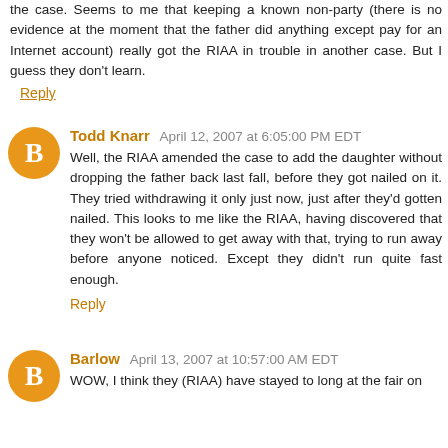the case. Seems to me that keeping a known non-party (there is no evidence at the moment that the father did anything except pay for an Internet account) really got the RIAA in trouble in another case. But I guess they don't learn.
Reply
Todd Knarr  April 12, 2007 at 6:05:00 PM EDT
Well, the RIAA amended the case to add the daughter without dropping the father back last fall, before they got nailed on it. They tried withdrawing it only just now, just after they'd gotten nailed. This looks to me like the RIAA, having discovered that they won't be allowed to get away with that, trying to run away before anyone noticed. Except they didn't run quite fast enough.
Reply
Barlow  April 13, 2007 at 10:57:00 AM EDT
WOW, I think they (RIAA) have stayed to long at the fair on